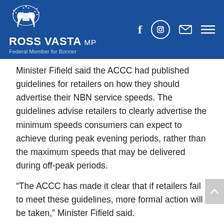ROSS VASTA MP — Federal Member for Bonner
Minister Fifield said the ACCC had published guidelines for retailers on how they should advertise their NBN service speeds. The guidelines advise retailers to clearly advertise the minimum speeds consumers can expect to achieve during peak evening periods, rather than the maximum speeds that may be delivered during off-peak periods.
“The ACCC has made it clear that if retailers fail to meet these guidelines, more formal action will be taken,” Minister Fifield said.
Mr Vasta encouraged people to sign up for broadband performance consumer updates on the ACCC website.